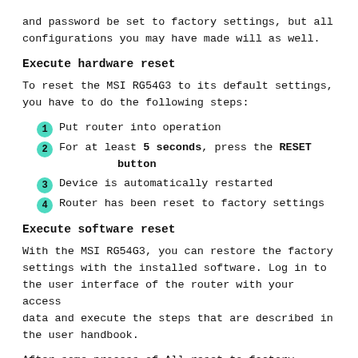and password be set to factory settings, but all configurations you may have made will as well.
Execute hardware reset
To reset the MSI RG54G3 to its default settings, you have to do the following steps:
Put router into operation
For at least 5 seconds, press the RESET button
Device is automatically restarted
Router has been reset to factory settings
Execute software reset
With the MSI RG54G3, you can restore the factory settings with the installed software. Log in to the user interface of the router with your access data and execute the steps that are described in the user handbook.
After some process of All reset to factory settings